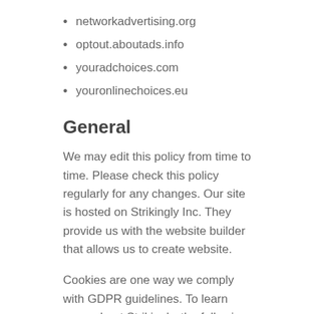networkadvertising.org
optout.aboutads.info
youradchoices.com
youronlinechoices.eu
General
We may edit this policy from time to time. Please check this policy regularly for any changes. Our site is hosted on Strikingly Inc. They provide us with the website builder that allows us to create website.
Cookies are one way we comply with GDPR guidelines. To learn more about Strikingly, the following links may be helpful: Youtube Facebook Twitter SXL